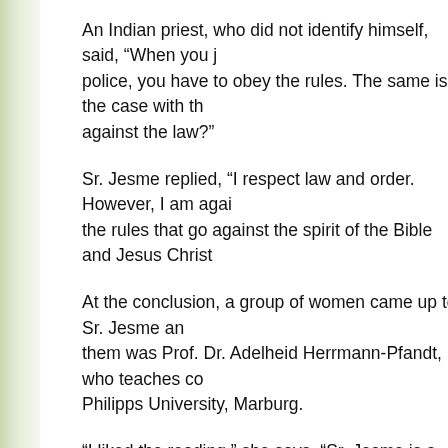An Indian priest, who did not identify himself, said, "When you join the police, you have to obey the rules. The same is the case with the Church. Is the Bible against the law?"
Sr. Jesme replied, "I respect law and order. However, I am against the rules that go against the spirit of the Bible and Jesus Christ."
At the conclusion, a group of women came up to Sr. Jesme and spoke to her. Among them was Prof. Dr. Adelheid Herrmann-Pfandt, who teaches comparative religion at Philipps University, Marburg.
“I liked the reading,” she says. “Sr. Jesme is a powerful and courageous woman. I hope she will be able to carry on telling the truth about what is wrong in the Church. It is admirable that she has not lost her religious faith despite all her suffering.”
Later, Sr. Jesme was able to visit Heidelberg, which is regarded as one of the most beautiful cities in Germany. "Overall, it was a wonderful experience."
The publisher was also very happy. “All the copies of ‘Amen’, which we had brought to the fair, were sold out,” says Ravi Deecee. “Several European publishers have also expressed an interest in the book.”